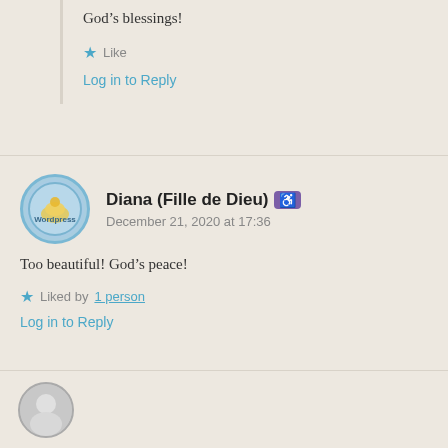God’s blessings!
★ Like
Log in to Reply
Diana (Fille de Dieu) 👤
December 21, 2020 at 17:36
Too beautiful! God’s peace!
★ Liked by 1 person
Log in to Reply